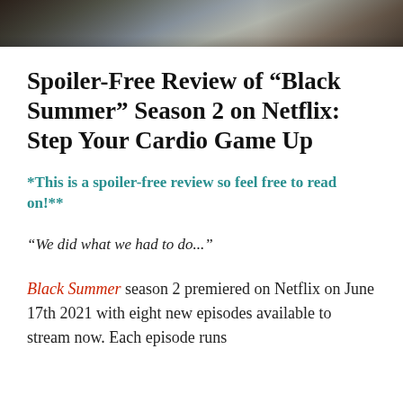[Figure (photo): Dark moody banner image at the top of the page, showing shadowy figures in a muted blue-grey tone]
Spoiler-Free Review of “Black Summer” Season 2 on Netflix: Step Your Cardio Game Up
*This is a spoiler-free review so feel free to read on!**
“We did what we had to do...”
Black Summer season 2 premiered on Netflix on June 17th 2021 with eight new episodes available to stream now. Each episode runs